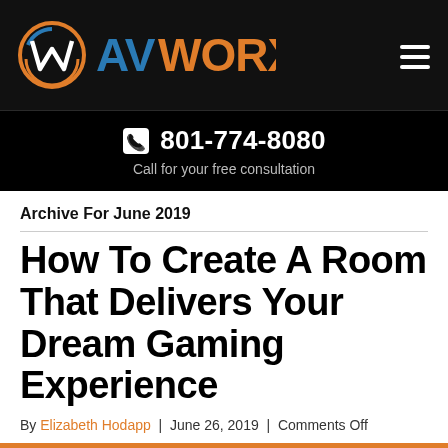[Figure (logo): AVWorx logo with circular W emblem in orange/blue and AVWORX text in blue and orange on black background]
801-774-8080
Call for your free consultation
Archive For June 2019
How To Create A Room That Delivers Your Dream Gaming Experience
By Elizabeth Hodapp | June 26, 2019 | Comments Off